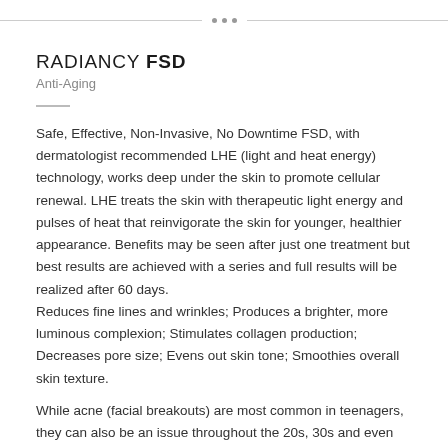• • •
RADIANCY FSD
Anti-Aging
Safe, Effective, Non-Invasive, No Downtime FSD, with dermatologist recommended LHE (light and heat energy) technology, works deep under the skin to promote cellular renewal. LHE treats the skin with therapeutic light energy and pulses of heat that reinvigorate the skin for younger, healthier appearance. Benefits may be seen after just one treatment but best results are achieved with a series and full results will be realized after 60 days.
Reduces fine lines and wrinkles; Produces a brighter, more luminous complexion; Stimulates collagen production; Decreases pore size; Evens out skin tone; Smoothies overall skin texture.
While acne (facial breakouts) are most common in teenagers, they can also be an issue throughout the 20s, 30s and even into the 40s. For some, acne may appear for the first time in adulthood. Acne is usually related to increased sebum production. Sebum is an oily substance naturally produced by the skin. Excess sebum can mix with dead skin cells that build up in